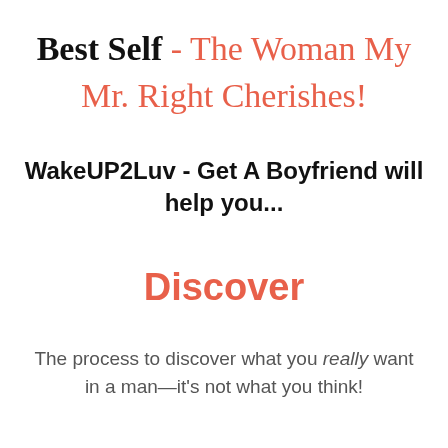Best Self - The Woman My Mr. Right Cherishes!
WakeUP2Luv - Get A Boyfriend will help you...
Discover
The process to discover what you really want in a man—it's not what you think!